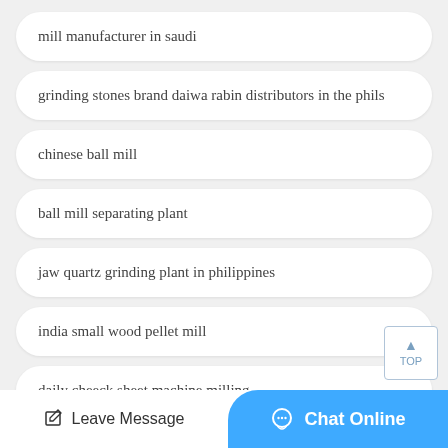mill manufacturer in saudi
grinding stones brand daiwa rabin distributors in the phils
chinese ball mill
ball mill separating plant
jaw quartz grinding plant in philippines
india small wood pellet mill
daily cheeck sheet machine milling
Leave Message  Chat Online